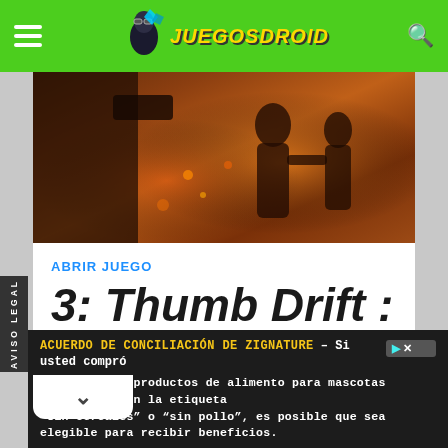JuegosDroid
[Figure (screenshot): Video game screenshot showing combat scene with fire and silhouetted figures]
ABRIR JUEGO
3: Thumb Drift :
AVISO LEGAL | ACUERDO DE CONCILIACIÓN DE ZIGNATURE – Si usted compró determinados productos de alimento para mascotas Zignature, con la etiqueta "sin cereales" o "sin pollo", es posible que sea elegible para recibir beneficios.